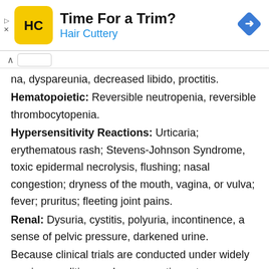[Figure (other): Advertisement banner for Hair Cuttery with logo, title 'Time For a Trim?' and blue subtitle 'Hair Cuttery', with navigation arrow icon on the right]
na, dyspareunia, decreased libido, proctitis.
Hematopoietic: Reversible neutropenia, reversible thrombocytopenia.
Hypersensitivity Reactions: Urticaria; erythematous rash; Stevens-Johnson Syndrome, toxic epidermal necrolysis, flushing; nasal congestion; dryness of the mouth, vagina, or vulva; fever; pruritus; fleeting joint pains.
Renal: Dysuria, cystitis, polyuria, incontinence, a sense of pelvic pressure, darkened urine.
Because clinical trials are conducted under widely varying conditions, adverse reaction rates